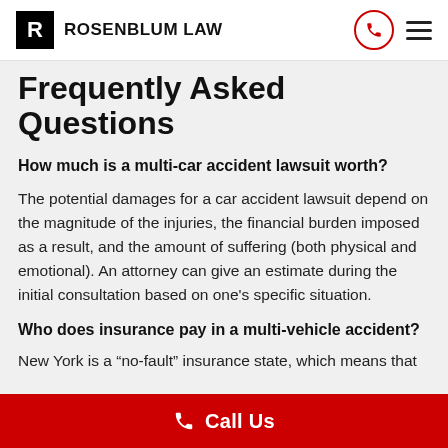ROSENBLUM LAW
Frequently Asked Questions
How much is a multi-car accident lawsuit worth?
The potential damages for a car accident lawsuit depend on the magnitude of the injuries, the financial burden imposed as a result, and the amount of suffering (both physical and emotional). An attorney can give an estimate during the initial consultation based on one's specific situation.
Who does insurance pay in a multi-vehicle accident?
New York is a “no-fault” insurance state, which means that
Call Us